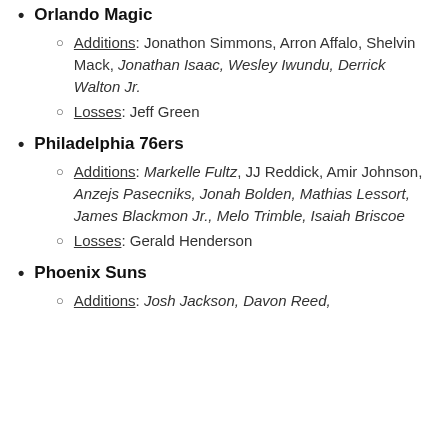Orlando Magic
Additions: Jonathon Simmons, Arron Affalo, Shelvin Mack, Jonathan Isaac, Wesley Iwundu, Derrick Walton Jr.
Losses: Jeff Green
Philadelphia 76ers
Additions: Markelle Fultz, JJ Reddick, Amir Johnson, Anzejs Pasecniks, Jonah Bolden, Mathias Lessort, James Blackmon Jr., Melo Trimble, Isaiah Briscoe
Losses: Gerald Henderson
Phoenix Suns
Additions: Josh Jackson, Davon Reed,